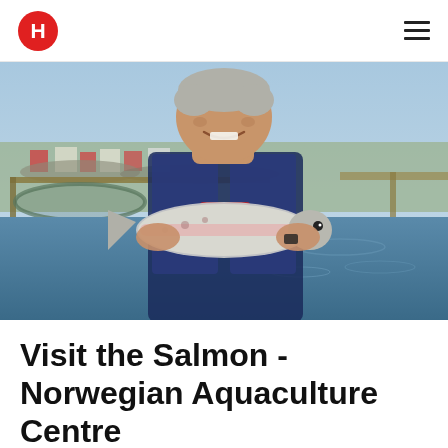H (logo) | hamburger menu
[Figure (photo): A smiling middle-aged man with grey hair wearing a dark t-shirt and blue life vest, holding a large salmon fish with both hands. He is standing at a fish farm pen structure on water. Behind him are fish farm nets, calm fjord water, a rocky shoreline, red and white Norwegian coastal houses, and a blue sky.]
Visit the Salmon - Norwegian Aquaculture Centre